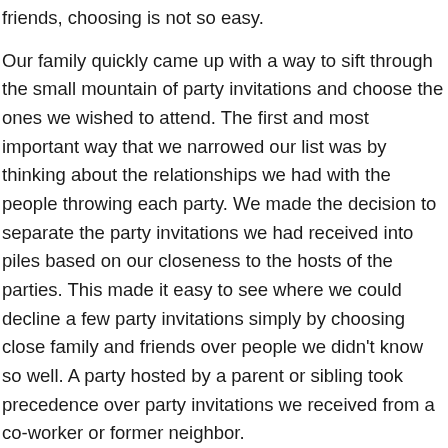friends, choosing is not so easy.

Our family quickly came up with a way to sift through the small mountain of party invitations and choose the ones we wished to attend. The first and most important way that we narrowed our list was by thinking about the relationships we had with the people throwing each party. We made the decision to separate the party invitations we had received into piles based on our closeness to the hosts of the parties. This made it easy to see where we could decline a few party invitations simply by choosing close family and friends over people we didn't know so well. A party hosted by a parent or sibling took precedence over party invitations we received from a co-worker or former neighbor.

We also decided to narrow down party invitations by only allowing ourselves to schedule a certain number of events each week. We limited our family to accepting party invitations to one party during each week and one party each weekend during the entire month. This way we were not so busy with parties that we were unable to continue doing other important things.

If you find yourself receiving too many party invitaions this holiday season, or at